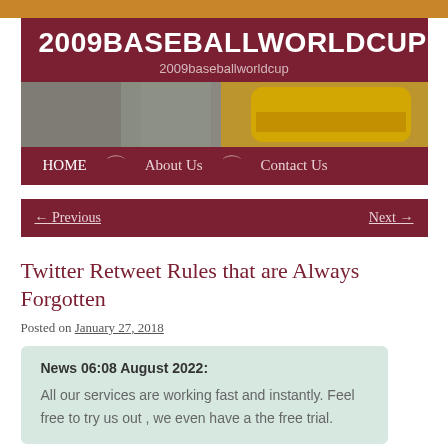2009BASEBALLWORLDCUP
2009baseballworldcup
[Figure (photo): Website header image showing street scene with yellow signage]
HOME | About Us | Contact Us
← Previous    Next →
Twitter Retweet Rules that are Always Forgotten
Posted on January 27, 2018
News 06:08 August 2022:
All our services are working fast and instantly. Feel free to try us out , we even have a the free trial.